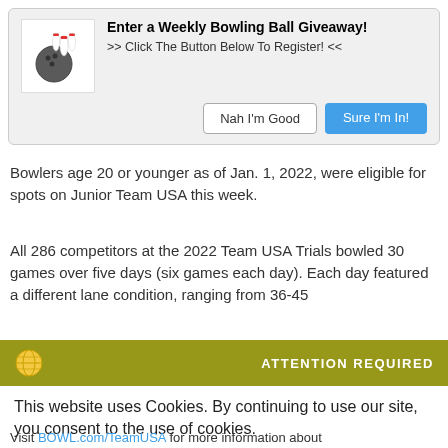[Figure (infographic): Bowling ball giveaway promotional banner with bowling ball and pins icon, title, subtitle, and two buttons: 'Nah I'm Good' and 'Sure I'm In!']
Bowlers age 20 or younger as of Jan. 1, 2022, were eligible for spots on Junior Team USA this week.
All 286 competitors at the 2022 Team USA Trials bowled 30 games over five days (six games each day). Each day featured a different lane condition, ranging from 36-45
[Figure (infographic): Cookie consent overlay with olive/yellow-green header bar showing globe icon and 'ATTENTION REQUIRED' text, white body with cookie notice text, Accept button (green) and Privacy Center button (dark navy)]
Visit BOWL.com/TeamUSA for more information about